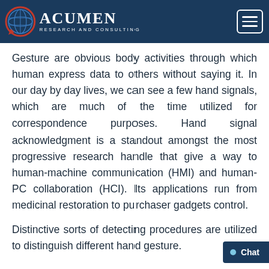Acumen Research and Consulting
Gesture are obvious body activities through which human express data to others without saying it. In our day by day lives, we can see a few hand signals, which are much of the time utilized for correspondence purposes. Hand signal acknowledgment is a standout amongst the most progressive research handle that give a way to human-machine communication (HMI) and human-PC collaboration (HCI). Its applications run from medicinal restoration to purchaser gadgets control.
Distinctive sorts of detecting procedures are utilized to distinguish different hand gesture.